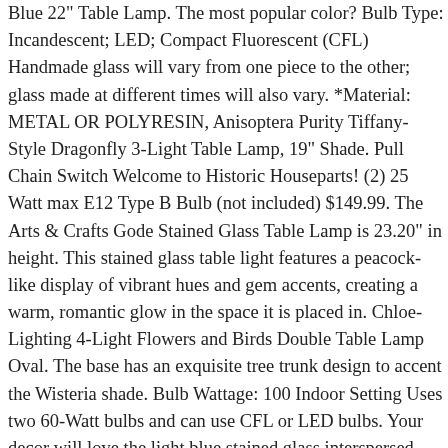Blue 22" Table Lamp. The most popular color? Bulb Type: Incandescent; LED; Compact Fluorescent (CFL) Handmade glass will vary from one piece to the other; glass made at different times will also vary. *Material: METAL OR POLYRESIN, Anisoptera Purity Tiffany-Style Dragonfly 3-Light Table Lamp, 19" Shade. Pull Chain Switch Welcome to Historic Houseparts! (2) 25 Watt max E12 Type B Bulb (not included) $149.99. The Arts & Crafts Gode Stained Glass Table Lamp is 23.20" in height. This stained glass table light features a peacock-like display of vibrant hues and gem accents, creating a warm, romantic glow in the space it is placed in. Chloe-Lighting 4-Light Flowers and Birds Double Table Lamp Oval. The base has an exquisite tree trunk design to accent the Wisteria shade. Bulb Wattage: 100 Indoor Setting Uses two 60-Watt bulbs and can use CFL or LED bulbs. Your decor will love the light blue stained glass interspersed with clear textured glass lampshade. Light bulbs used in lamps or ambient lighting may affect the appearance of the products. Since these are hand crafted products, the exact color of glass pieces may vary. Some of the technologies we use are necessary for critical functions like security and site integrity, account